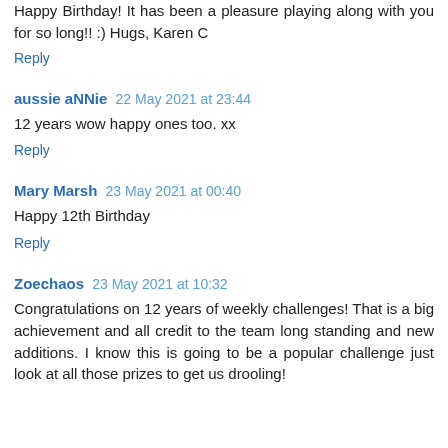Happy Birthday! It has been a pleasure playing along with you for so long!! :) Hugs, Karen C
Reply
aussie aNNie 22 May 2021 at 23:44
12 years wow happy ones too. xx
Reply
Mary Marsh 23 May 2021 at 00:40
Happy 12th Birthday
Reply
Zoechaos 23 May 2021 at 10:32
Congratulations on 12 years of weekly challenges! That is a big achievement and all credit to the team long standing and new additions. I know this is going to be a popular challenge just look at all those prizes to get us drooling!